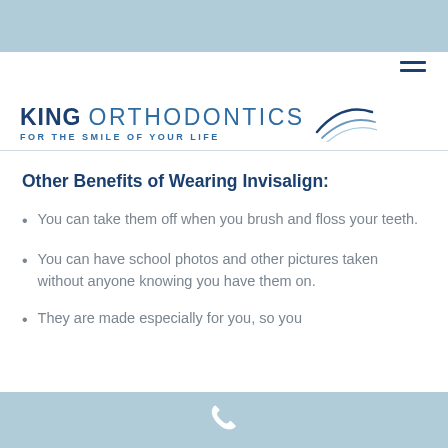[Figure (logo): King Orthodontics logo with tagline 'For the Smile of Your Life' and a swoosh graphic]
Other Benefits of Wearing Invisalign:
You can take them off when you brush and floss your teeth.
You can have school photos and other pictures taken without anyone knowing you have them on.
They are made especially for you, so you